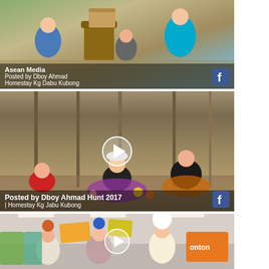[Figure (screenshot): Top video thumbnail: people at an outdoor activity around a tree stump, with Asean Media and Facebook overlay. Text overlay reads 'Asean Media' and 'Posted by Dboy Ahmad / Homestay Kg Dabu Kubong'. Facebook icon in bottom right.]
[Figure (screenshot): Middle video thumbnail: group of young people sitting on ground in a forest/rubber tree plantation area with play button overlay. Text overlay reads 'Posted by Dboy Ahmad Hunt 2017 / Homestay Kg Jabu Kubong'. Facebook icon in bottom right.]
[Figure (screenshot): Bottom video thumbnail: people at an indoor event/expo, some wearing chef hats and colorful costumes, holding signs. Play button overlay visible. Person on right has 'Ronton' banner visible.]